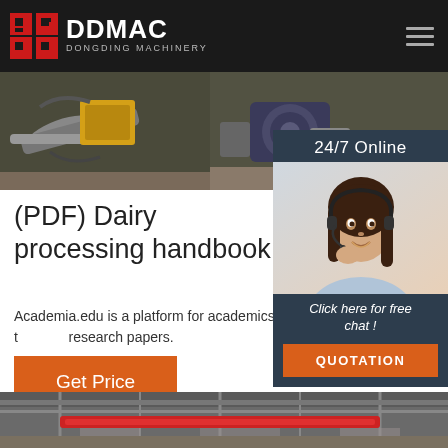DDMAC DONGDING MACHINERY
[Figure (photo): Industrial machinery equipment photo strip — yellow and grey machines, motors]
[Figure (photo): 24/7 Online customer service agent — woman with headset smiling, with 'Click here for free chat!' and QUOTATION button]
(PDF) Dairy processing handbook
Academia.edu is a platform for academics to share research papers.
[Figure (other): Get Price orange button]
[Figure (photo): Factory interior — industrial building with red overhead crane]